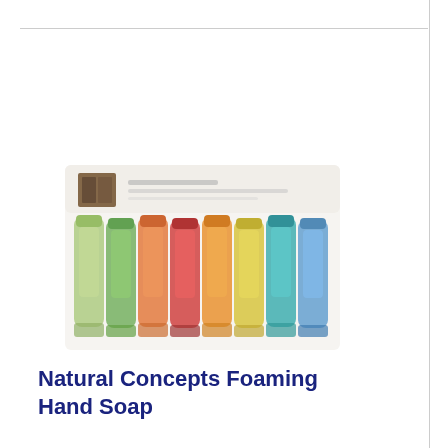[Figure (photo): Product photo showing a set of colorful foaming hand soap bottles in various colors (green, orange, red, yellow, teal/blue) arranged in a row inside a white box packaging, with a brown logo on the left side of the packaging.]
Natural Concepts Foaming Hand Soap